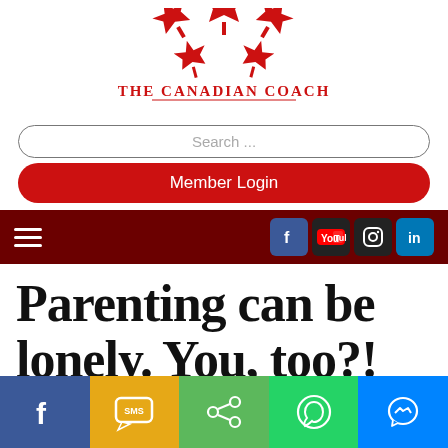[Figure (logo): The Canadian Coach logo with red maple leaves and text 'THE CANADIAN COACH']
Search ...
Member Login
[Figure (infographic): Dark red navigation bar with hamburger menu icon on left and social media icons (Facebook, YouTube, Instagram, LinkedIn) on right]
Parenting can be lonely. You, too?!
Aug 2 2018
[Figure (photo): Partially visible photo at the bottom of the article header area]
[Figure (infographic): Bottom share bar with Facebook, SMS, Share, WhatsApp, and Messenger buttons]